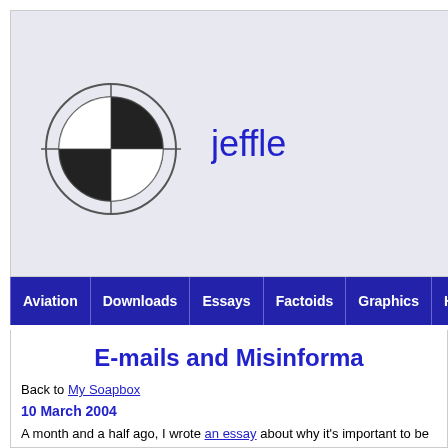[Figure (logo): Crosshair/target logo with black and white quadrants in a circle]
jeffle
Aviation | Downloads | Essays | Factoids | Graphics | HowTo / Recipes
E-mails and Misinforma
Back to My Soapbox
10 March 2004
A month and a half ago, I wrote an essay about why it's important to be care send on hoaxes and myths because of the harm that they can cause. One o I've sent back corrections on. I just sent one back this past week, and appar them off pretty good. So, I verbally apologized (sincerely), and then sent the pretty good job of explaining my opinions, giving a few more examples than
I'm sorry that I upset you- I didn't mean to. And I'm not singling you out in [my fiancée] or anyone else that forwards me anything, so much so that I her own, and she'll reply to her friends to correct them if they send her so
And I don't correct people just for the sake of correcting them. Ther